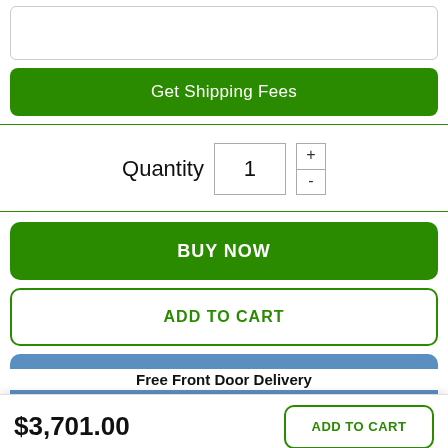[Figure (screenshot): Empty input text box with rounded border]
Get Shipping Fees
Quantity  1  +  -
BUY NOW
ADD TO CART
MAKE AN OFFER
$3,701.00
ADD TO CART
Free Front Door Delivery